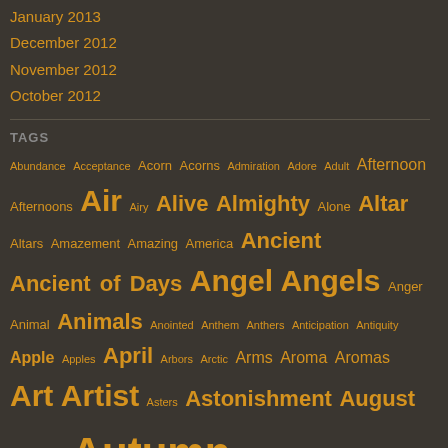January 2013
December 2012
November 2012
October 2012
TAGS
Abundance Acceptance Acorn Acorns Admiration Adore Adult Afternoon Afternoons Air Airy Alive Almighty Alone Altar Altars Amazement Amazing America Ancient Ancient of Days Angel Angels Anger Animal Animals Anointed Anthem Anthers Anticipation Antiquity Apple Apples April Arbors Arctic Arms Aroma Aromas Art Artist Asters Astonishment August Authentic Autumn Autumn Clematis Avian Awake Awaken Awakening Awe Awesome Azure Babe Baby Backyard Bad Balance Balm Banquet Bare Bark Battle Beach Beak Beast Beasties Beasts Beautiful Beauty Bee Bees Beetles Beginning Beginnings Behold Being Belief Beliefs Believe Bells Beloved Benediction Benedictions Benefactor Berries Bible Big Bird